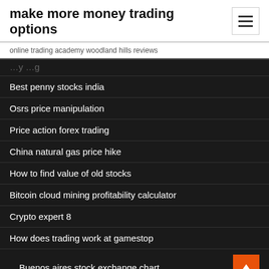make more money trading options
online trading academy woodland hills reviews
Best penny stocks india
Osrs price manipulation
Price action forex trading
China natural gas price hike
How to find value of old stocks
Bitcoin cloud mining profitability calculator
Crypto expert 8
How does trading work at gamestop
Buenos aires stock exchange chart
Nasdaq wti oil price